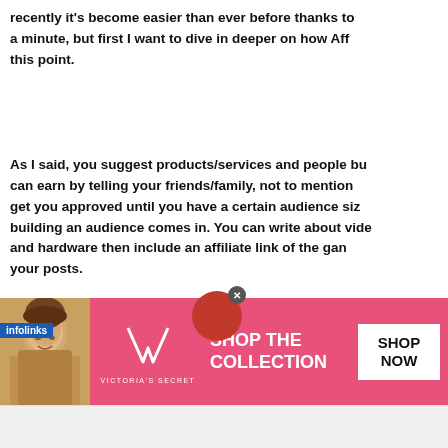recently it's become easier than ever before thanks to a minute, but first I want to dive in deeper on how Aff this point.
As I said, you suggest products/services and people bu can earn by telling your friends/family, not to mention get you approved until you have a certain audience siz building an audience comes in. You can write about vide and hardware then include an affiliate link of the gan your posts.
Similarly, you could write about crypto mining and affili
Fiding an affiliate program for your niche simp
[Figure (photo): Victoria's Secret advertisement banner with a woman model, VS logo, 'SHOP THE COLLECTION' text, and a 'SHOP NOW' button on a pink background. Infolinks label visible.]